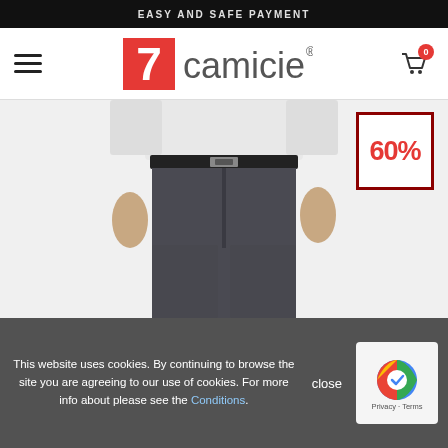EASY AND SAFE PAYMENT
[Figure (logo): 7camicie brand logo with red numeral 7 and grey 'camicie' text with registered trademark symbol]
[Figure (photo): Man wearing dark grey chino trousers with a white shirt and black belt, cropped from waist to knees]
[Figure (other): 60% discount badge in a red-bordered square]
This website uses cookies. By continuing to browse the site you are agreeing to our use of cookies. For more info about please see the Conditions.
close